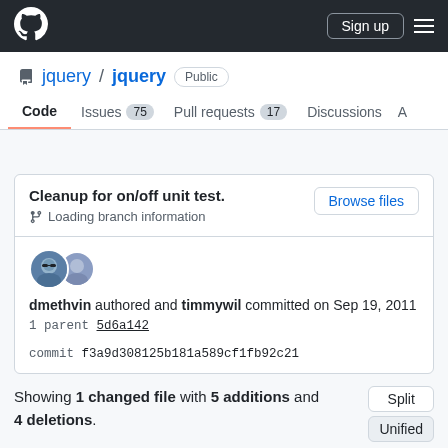GitHub header with logo, Sign up button, and hamburger menu
jquery / jquery Public
Code  Issues 75  Pull requests 17  Discussions  A
Cleanup for on/off unit test. Loading branch information
dmethvin authored and timmywil committed on Sep 19, 2011
1 parent 5d6a142   commit f3a9d308125b181a589cf1fb92c21
Showing 1 changed file with 5 additions and 4 deletions.
9  test/unit/event.js